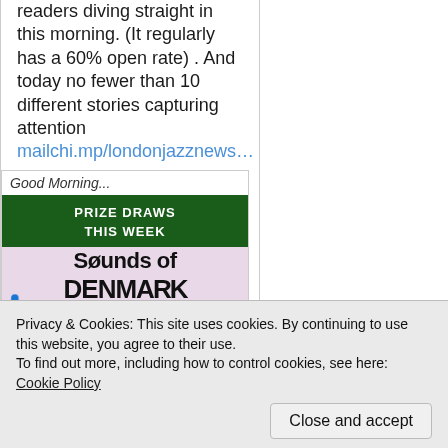readers diving straight in this morning. (It regularly has a 60% open rate) . And today no fewer than 10 different stories capturing attention mailchi.mp/londonjazznews…
[Figure (screenshot): Screenshot of a newsletter preview showing 'Good Morning...' header, a dark green banner reading 'PRIZE DRAWS THIS WEEK', and below it a pink/purple background with 'Søunds of DENMARK' text and a person silhouette.]
Privacy & Cookies: This site uses cookies. By continuing to use this website, you agree to their use.
To find out more, including how to control cookies, see here: Cookie Policy
Close and accept
Heritage a strong feature in